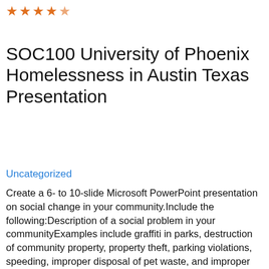[Figure (other): Five orange star rating icons at the top left, with the last star partially filled]
SOC100 University of Phoenix Homelessness in Austin Texas Presentation
Uncategorized
Create a 6- to 10-slide Microsoft PowerPoint presentation on social change in your community.Include the following:Description of a social problem in your communityExamples include graffiti in parks, destruction of community property, property theft, parking violations, speeding, improper disposal of pet waste, and improper landscaping.A theoretical perspective on social movements to apply to this problemInclude a description of how this perspective proposes to address this problem and